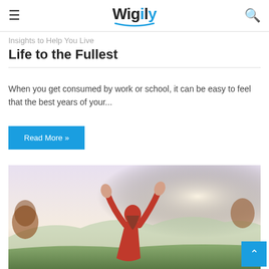Wigily
Insights to Help You Live Life to the Fullest
When you get consumed by work or school, it can be easy to feel that the best years of your...
Read More »
[Figure (photo): Woman in red top seen from behind with arms raised up in celebration against a bright sky and green landscape below.]